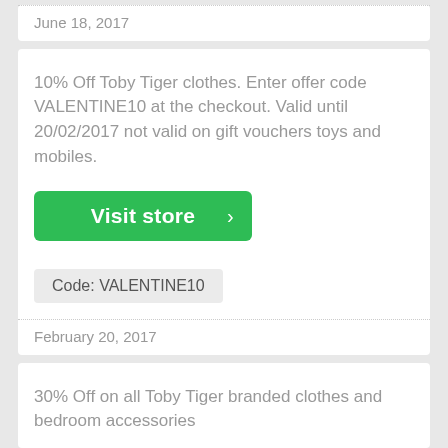June 18, 2017
10% Off Toby Tiger clothes. Enter offer code VALENTINE10 at the checkout. Valid until 20/02/2017 not valid on gift vouchers toys and mobiles.
Visit store >
Code: VALENTINE10
February 20, 2017
30% Off on all Toby Tiger branded clothes and bedroom accessories